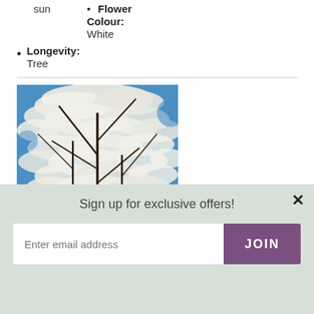sun   • Flower Colour: White
Longevity: Tree
[Figure (photo): Tree with white blossoms against a blue sky, with a red watermark logo in the bottom left corner]
Sign up for exclusive offers!
Enter email address  JOIN